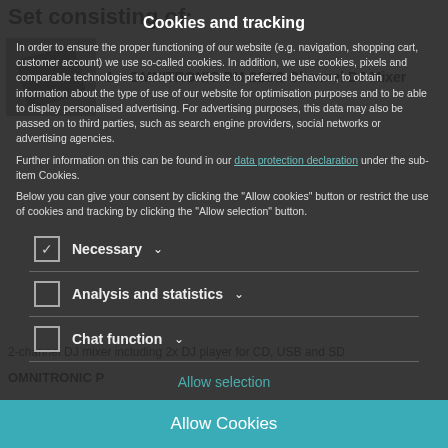Set consisting of:
1 x OMNITRONIC PM-222 2-Channel DJ Mixer
Cookies and tracking
In order to ensure the proper functioning of our website (e.g. navigation, shopping cart, customer account) we use so-called cookies. In addition, we use cookies, pixels and comparable technologies to adapt our website to preferred behaviour, to obtain information about the type of use of our website for optimisation purposes and to be able to display personalised advertising. For advertising purposes, this data may also be passed on to third parties, such as search engine providers, social networks or advertising agencies.
Further information on this can be found in our data protection declaration under the sub-item Cookies.
Below you can give your consent by clicking the "Allow cookies" button or restrict the use of cookies and tracking by clicking the "Allow selection" button.
Necessary
Analysis and statistics
Chat function
Allow selection
2-channel DJ mixer including 2x DJ player for CD, USB and SD
OMNITRONIC P
Allow Cookies